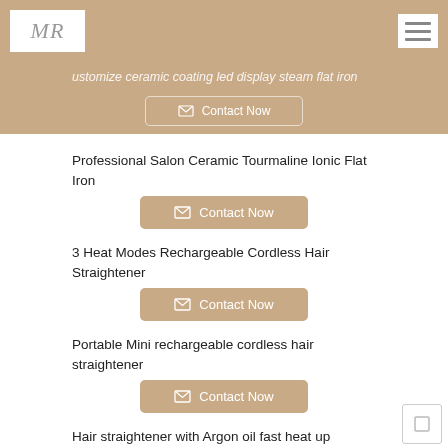MR [logo]
customize ceramic coating led display steam flat iron
Contact Now
Professional Salon Ceramic Tourmaline Ionic Flat Iron
Contact Now
3 Heat Modes Rechargeable Cordless Hair Straightener
Contact Now
Portable Mini rechargeable cordless hair straightener
Contact Now
Hair straightener with Argon oil fast heat up